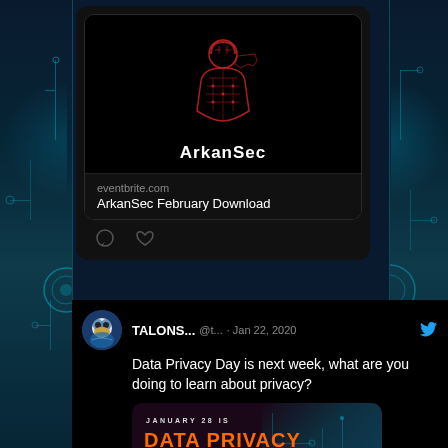[Figure (screenshot): ArkanSec Twitter/social media post with lock circuit board logo image and eventbrite.com link card for 'ArkanSec February Download', followed by comment and like icons]
[Figure (screenshot): TALONS... @t... Jan 22, 2020 tweet: 'Data Privacy Day is next week, what are you doing to learn about privacy?' with a Data Privacy Day banner image showing 'JANUARY 28 IS DATA PRIVACY DAY' text in orange]
[Figure (infographic): Data Privacy Day infographic card: 'JANUARY 28 IS DATA PRIVACY DAY' with orange bold text on dark background with circuit board imagery]